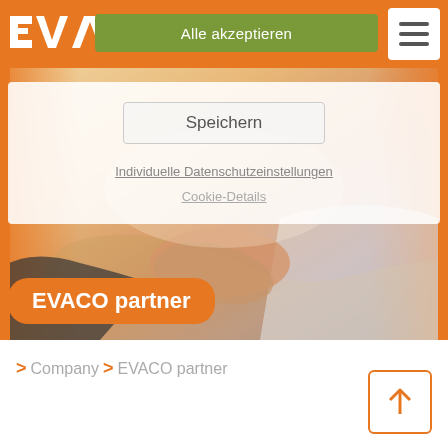[Figure (screenshot): EVACO website screenshot showing a cookie consent overlay with 'Alle akzeptieren' (Accept all) green button, 'Speichern' (Save) button, links for 'Individuelle Datenschutzeinstellungen' and 'Cookie-Details', overlaid on a hero image of a business handshake. Orange header bar with EVACO logo and hamburger menu. Orange 'EVACO partner' badge on the hero image.]
Alle akzeptieren
Speichern
Individuelle Datenschutzeinstellungen
Cookie-Details
EVACO partner
> Company > EVACO partner